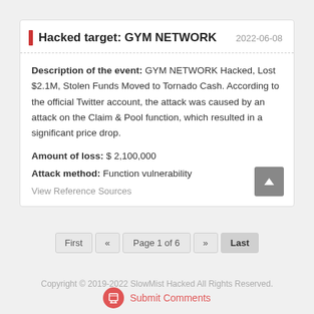Hacked target: GYM NETWORK
Description of the event: GYM NETWORK Hacked, Lost $2.1M, Stolen Funds Moved to Tornado Cash. According to the official Twitter account, the attack was caused by an attack on the Claim & Pool function, which resulted in a significant price drop.
Amount of loss: $ 2,100,000
Attack method: Function vulnerability
View Reference Sources
First « Page 1 of 6 » Last
Copyright © 2019-2022 SlowMist Hacked All Rights Reserved.
Submit Comments